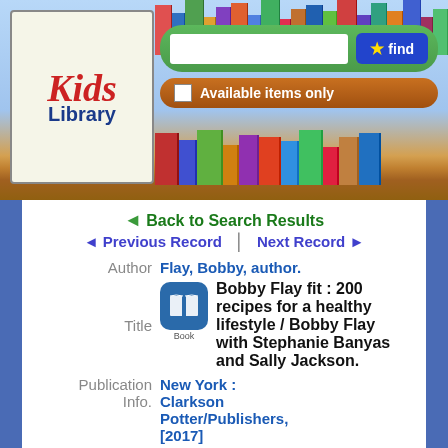[Figure (screenshot): Kids Library website header with logo, search bar, and bookshelf background]
Back to Search Results
Previous Record | Next Record
| Field | Value |
| --- | --- |
| Author | Flay, Bobby, author. |
| Title | Bobby Flay fit : 200 recipes for a healthy lifestyle / Bobby Flay with Stephanie Banyas and Sally Jackson. |
| Publication Info. | New York : Clarkson Potter/Publishers, [2017] |
Copies
| Location | Pub Note |
| --- | --- |